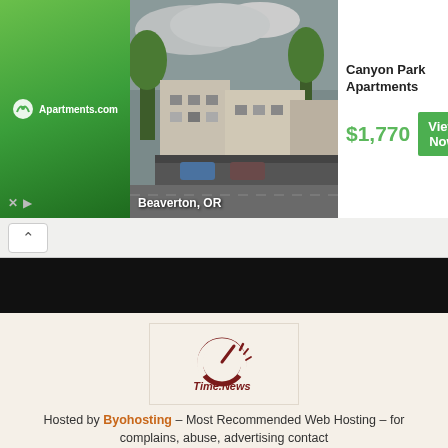[Figure (screenshot): Apartments.com advertisement banner showing Canyon Park Apartments in Beaverton, OR for $1,770 with a View Now button]
Canyon Park Apartments
$1,770
View Now
Beaverton, OR
[Figure (logo): Time.News logo — a dark red circular gauge/clock icon with the text Time.News below it]
Hosted by Byohosting – Most Recommended Web Hosting – for complains, abuse, advertising contact